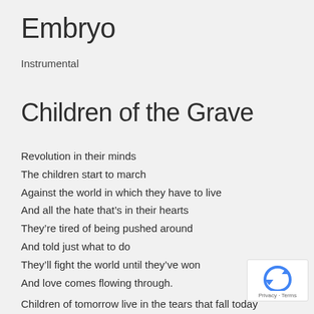Embryo
Instrumental
Children of the Grave
Revolution in their minds
The children start to march
Against the world in which they have to live
And all the hate that's in their hearts
They're tired of being pushed around
And told just what to do
They'll fight the world until they've won
And love comes flowing through.
Children of tomorrow live in the tears that fall today